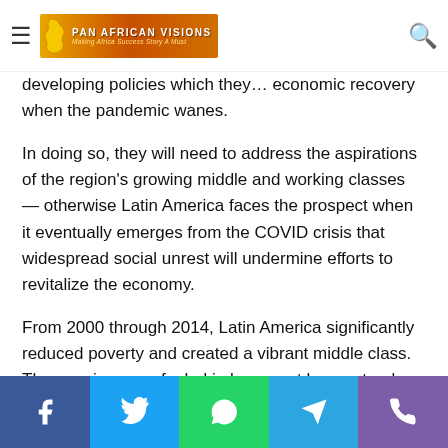Pan African Visions — navigation bar with logo
developing policies which they… economic recovery when the pandemic wanes.
In doing so, they will need to address the aspirations of the region's growing middle and working classes — otherwise Latin America faces the prospect when it eventually emerges from the COVID crisis that widespread social unrest will undermine efforts to revitalize the economy.
From 2000 through 2014, Latin America significantly reduced poverty and created a vibrant middle class. These gains were fueled in large part by a natural resources export boon that generated a healthy 3.2% average annual growth rate (even after accounting for the financial crisis of 2008).
Social sharing bar: Facebook, Twitter, WhatsApp, Telegram, Phone